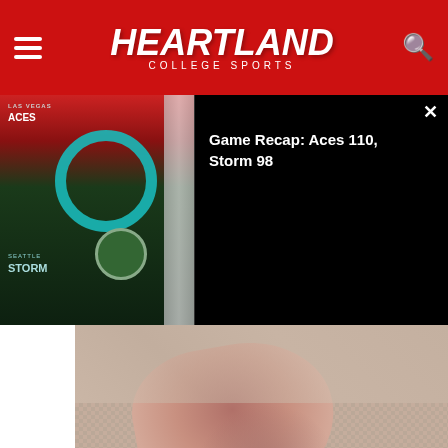Heartland College Sports
[Figure (screenshot): Video thumbnail showing Las Vegas Aces vs Seattle Storm game recap with team logos. Title reads: Game Recap: Aces 110, Storm 98]
[Figure (photo): Close-up photo of a person's ankle/heel area on a woven carpet or rug surface]
HOMEOWNERS ARE TRADING IN THEIR DOORBELL CAMS FOR THIS.
By Keilini.com
[Figure (photo): Close-up photo of an elderly person's hand resting on a wooden floor surface]